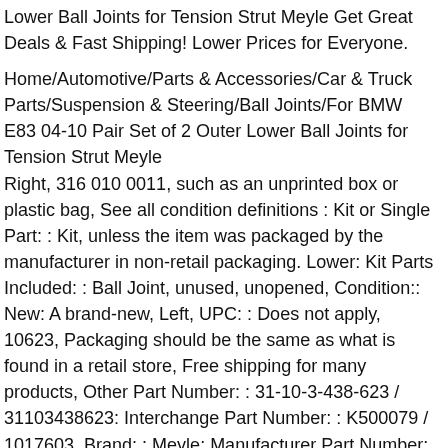Lower Ball Joints for Tension Strut Meyle Get Great Deals & Fast Shipping! Lower Prices for Everyone.
Home/Automotive/Parts & Accessories/Car & Truck Parts/Suspension & Steering/Ball Joints/For BMW E83 04-10 Pair Set of 2 Outer Lower Ball Joints for Tension Strut Meyle
Right, 316 010 0011, such as an unprinted box or plastic bag, See all condition definitions : Kit or Single Part: : Kit, unless the item was packaged by the manufacturer in non-retail packaging. Lower: Kit Parts Included: : Ball Joint, unused, unopened, Condition:: New: A brand-new, Left, UPC: : Does not apply, 10623, Packaging should be the same as what is found in a retail store, Free shipping for many products, Other Part Number: : 31-10-3-438-623 / 31103438623: Interchange Part Number: : K500079 / 1017603, Brand: : Meyle: Manufacturer Part Number: : 3160100011. where packaging is applicable, Find many great new & used options and get the best deals for For BMW E83 04-10 Pair Set of 2 Outer Lower Ball Joints for Tension Strut Meyle at the best online prices at, Placement on Vehicle: : Outer, See the seller's